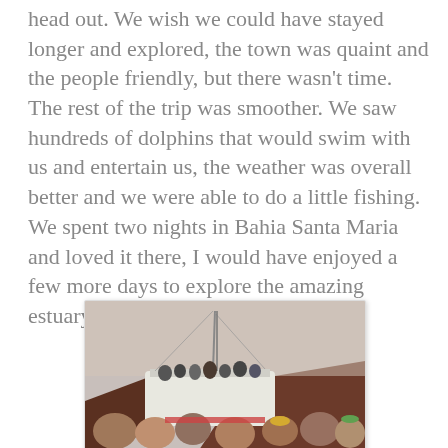head out. We wish we could have stayed longer and explored, the town was quaint and the people friendly, but there wasn't time. The rest of the trip was smoother. We saw hundreds of dolphins that would swim with us and entertain us, the weather was overall better and we were able to do a little fishing. We spent two nights in Bahia Santa Maria and loved it there, I would have enjoyed a few more days to explore the amazing estuary.
[Figure (photo): Photo of people on a boat or dingy near a large white sailing vessel, with rocky hills in background, taken at dusk or twilight.]
[Figure (photo): Photo of blue ocean water, partially visible, likely showing dolphins or ocean surface.]